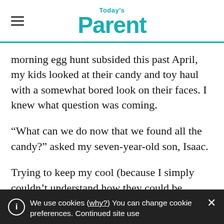Today's Parent
morning egg hunt subsided this past April, my kids looked at their candy and toy haul with a somewhat bored look on their faces. I knew what question was coming.
“What can we do now that we found all the candy?” asked my seven-year-old son, Isaac.
Trying to keep my cool (because I simply couldn’t understand how they could be
We use cookies (why?) You can change cookie preferences. Continued site use